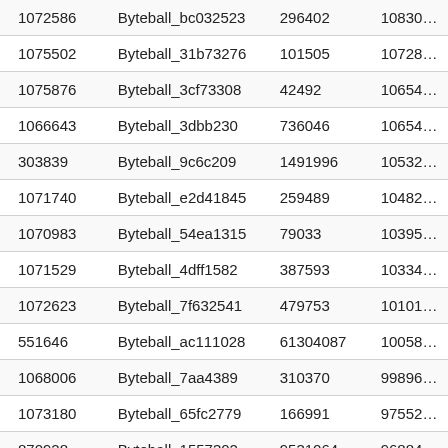| 1072586 | Byteball_bc032523 | 296402 | 10830… |
| 1075502 | Byteball_31b73276 | 101505 | 10728… |
| 1075876 | Byteball_3cf73308 | 42492 | 10654… |
| 1066643 | Byteball_3dbb230 | 736046 | 10654… |
| 303839 | Byteball_9c6c209 | 1491996 | 10532… |
| 1071740 | Byteball_e2d41845 | 259489 | 10482… |
| 1070983 | Byteball_54ea1315 | 79033 | 10395… |
| 1071529 | Byteball_4dff1582 | 387593 | 10334… |
| 1072623 | Byteball_7f632541 | 479753 | 10101… |
| 551646 | Byteball_ac111028 | 61304087 | 10058… |
| 1068006 | Byteball_7aa4389 | 310370 | 99896… |
| 1073180 | Byteball_65fc2779 | 166991 | 97552… |
| 870928 | Byteball_1557302 | 9531064 | 96884… |
| 1065688 | Byteball_0085586 | 180980756 | 96533… |
| 1076527 | Byteball_16873401 | 14155 | 95421… |
| 1069021 | Byteball_e5b5401 | 755397 | 94025… |